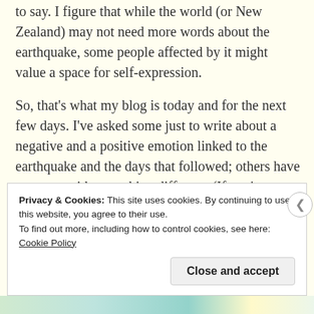to say. I figure that while the world (or New Zealand) may not need more words about the earthquake, some people affected by it might value a space for self-expression.
So, that's what my blog is today and for the next few days. I've asked some just to write about a negative and a positive emotion linked to the earthquake and the days that followed; others have come up with something different. (If you're reading this and want to contribute something, get in touch via Twitter or Facebook.)
Privacy & Cookies: This site uses cookies. By continuing to use this website, you agree to their use.
To find out more, including how to control cookies, see here: Cookie Policy